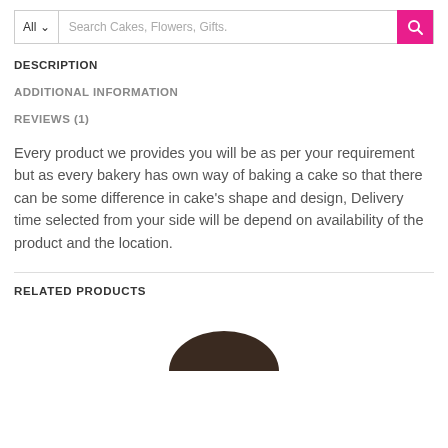All ∨  Search Cakes, Flowers, Gifts.
DESCRIPTION
ADDITIONAL INFORMATION
REVIEWS (1)
Every product we provides you will be as per your requirement but as every bakery has own way of baking a cake so that there can be some difference in cake's shape and design, Delivery time selected from your side will be depend on availability of the product and the location.
RELATED PRODUCTS